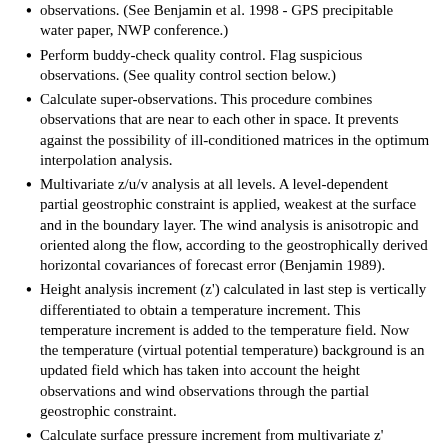observations. (See Benjamin et al. 1998 - GPS precipitable water paper, NWP conference.)
Perform buddy-check quality control. Flag suspicious observations. (See quality control section below.)
Calculate super-observations. This procedure combines observations that are near to each other in space. It prevents against the possibility of ill-conditioned matrices in the optimum interpolation analysis.
Multivariate z/u/v analysis at all levels. A level-dependent partial geostrophic constraint is applied, weakest at the surface and in the boundary layer. The wind analysis is anisotropic and oriented along the flow, according to the geostrophically derived horizontal covariances of forecast error (Benjamin 1989).
Height analysis increment (z') calculated in last step is vertically differentiated to obtain a temperature increment. This temperature increment is added to the temperature field. Now the temperature (virtual potential temperature) background is an updated field which has taken into account the height observations and wind observations through the partial geostrophic constraint.
Calculate surface pressure increment from multivariate z' increment at surface. This provides an updated background field for the univariate surface pressure analysis a few steps down. The height analysis is essentially ignored from this step on, but the height observations will appear as the z'